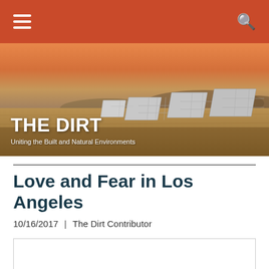THE DIRT — Navigation bar with hamburger menu and search icon
[Figure (photo): Solar panels in a dry grassland field at sunset/dusk with hills in the background. Warm orange sky. Overlaid with THE DIRT masthead text and subtitle 'Uniting the Built and Natural Environments'.]
Love and Fear in Los Angeles
10/16/2017  |  The Dirt Contributor
[Figure (other): Empty white image box with light gray border]